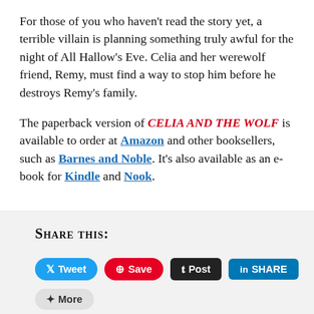For those of you who haven’t read the story yet, a terrible villain is planning something truly awful for the night of All Hallow’s Eve. Celia and her werewolf friend, Remy, must find a way to stop him before he destroys Remy’s family.
The paperback version of CELIA AND THE WOLF is available to order at Amazon and other booksellers, such as Barnes and Noble. It’s also available as an e-book for Kindle and Nook.
SHARE THIS: